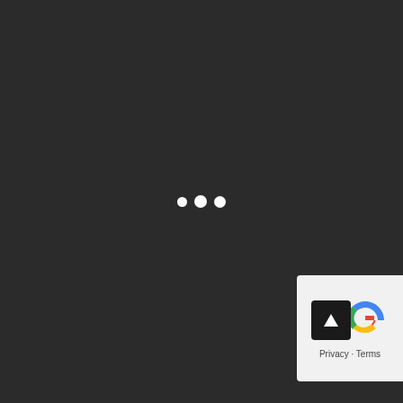[Figure (other): Dark loading screen with three white dots centered on a dark gray background, representing a loading spinner/indicator.]
[Figure (other): Google reCAPTCHA widget in bottom-right corner showing a dark square with upload arrow icon, Google logo partial, and Privacy/Terms text links.]